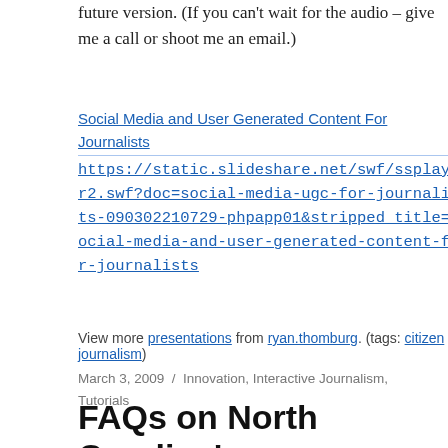future version. (If you can't wait for the audio – give me a call or shoot me an email.)
Social Media and User Generated Content For Journalists https://static.slideshare.net/swf/ssplayer2.swf?doc=social-media-ugc-for-journalists-090302210729-phpapp01&stripped_title=social-media-and-user-generated-content-for-journalists
View more presentations from ryan.thomburg. (tags: citizen journalism)
March 3, 2009 / Innovation, Interactive Journalism, Tutorials
FAQs on North Carolina's Dropout Rate